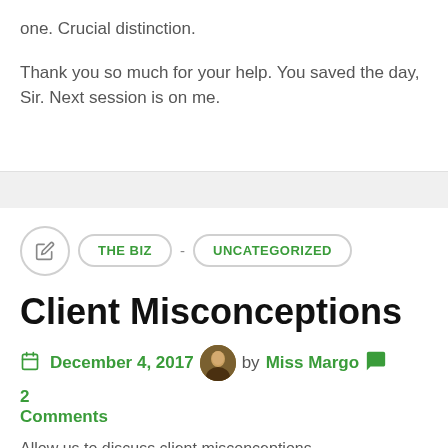one. Crucial distinction.

Thank you so much for your help.  You saved the day, Sir. Next session is on me.
THE BIZ - UNCATEGORIZED
Client Misconceptions
December 4, 2017  by Miss Margo  2 Comments
Allow us to discuss client misconceptions.